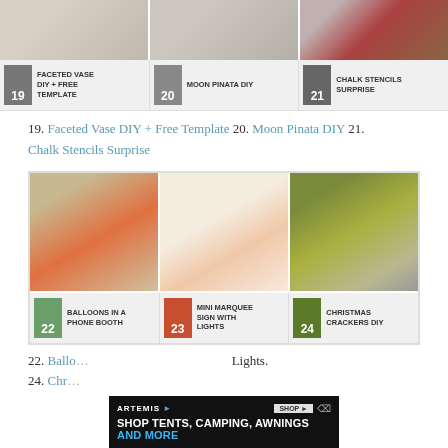[Figure (photo): Three craft project photos in a horizontal strip: hand holding geometric shape (Faceted Vase), wooden stool/furniture (Moon Pinata), concrete/red surface (Chalk Stencils)]
19 FACETED VASE DIY + FREE TEMPLATE  20 MOON PINATA DIY  21 CHALK STENCILS SURPRISE
19. Faceted Vase DIY + Free Template 20. Moon Pinata DIY 21. Chalk Stencils Surprise
[Figure (photo): Three craft project photos: balloons in a phone booth, mini marquee sign with lights, Christmas crackers DIY]
22 BALLOONS IN A PHONE BOOTH  23 MINI MARQUEE SIGN WITH LIGHTS  24 CHRISTMAS CRACKERS DIY
22. Balloons in a Phone Booth 23. Mini Marquee Sign with Lights 24. Christmas Crackers DIY
[Figure (photo): Advertisement banner: ARTEMIS - SHOP TENTS, CAMPING, AWNINGS AND MORE]